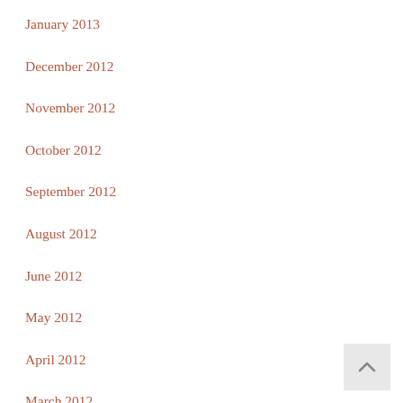January 2013
December 2012
November 2012
October 2012
September 2012
August 2012
June 2012
May 2012
April 2012
March 2012
February 2012
January 2012